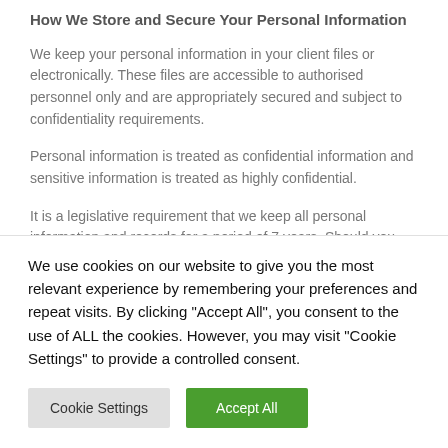How We Store and Secure Your Personal Information
We keep your personal information in your client files or electronically. These files are accessible to authorised personnel only and are appropriately secured and subject to confidentiality requirements.
Personal information is treated as confidential information and sensitive information is treated as highly confidential.
It is a legislative requirement that we keep all personal information and records for a period of 7 years. Should you cease to be a client of ours, we will maintain your
We use cookies on our website to give you the most relevant experience by remembering your preferences and repeat visits. By clicking "Accept All", you consent to the use of ALL the cookies. However, you may visit "Cookie Settings" to provide a controlled consent.